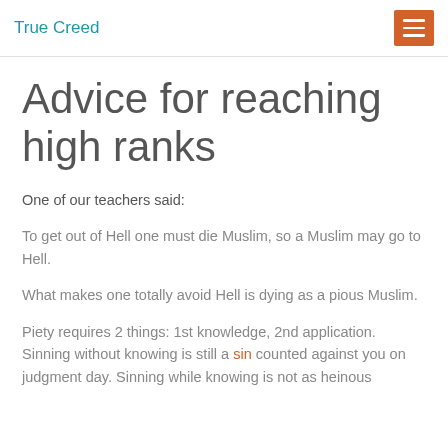True Creed
Advice for reaching high ranks
One of our teachers said:
To get out of Hell one must die Muslim, so a Muslim may go to Hell.
What makes one totally avoid Hell is dying as a pious Muslim.
Piety requires 2 things: 1st knowledge, 2nd application. Sinning without knowing is still a sin counted against you on judgment day. Sinning while knowing is not as heinous...